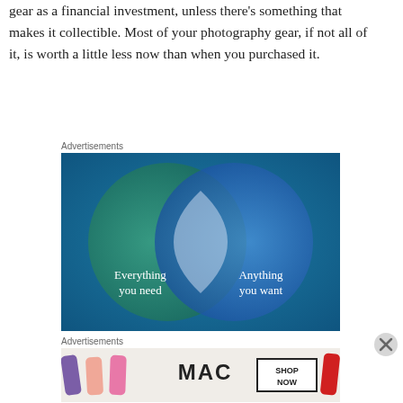gear as a financial investment, unless there's something that makes it collectible. Most of your photography gear, if not all of it, is worth a little less now than when you purchased it.
Advertisements
[Figure (infographic): Advertisement showing a Venn diagram with two overlapping circles on a teal/blue background. Left green circle says 'Everything you need', right blue circle says 'Anything you want', with a lighter overlap area in the center.]
Advertisements
[Figure (photo): MAC Cosmetics advertisement showing lipsticks in purple, peach, pink and red colors with MAC logo and 'SHOP NOW' button.]